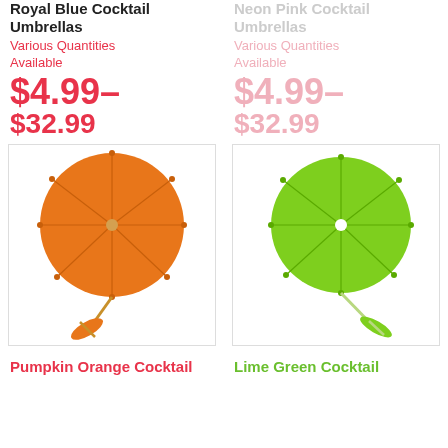Royal Blue Cocktail Umbrellas
Various Quantities Available
$4.99–
$32.99
Neon Pink Cocktail Umbrellas
Various Quantities Available
$4.99–
$32.99
[Figure (photo): Orange cocktail umbrella open and closed, white background]
[Figure (photo): Lime green cocktail umbrella open and closed, white background]
Pumpkin Orange Cocktail
Lime Green Cocktail